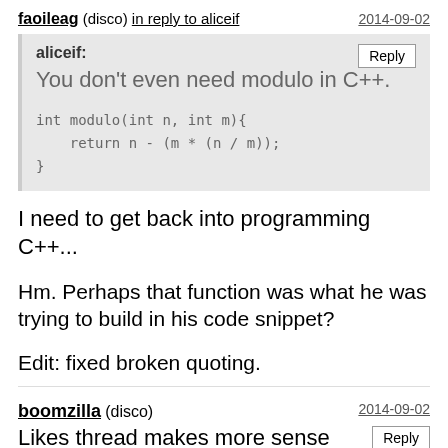faoileag (disco) in reply to aliceif   2014-09-02
aliceif:
You don't even need modulo in C++.

int modulo(int n, int m){
    return n - (m * (n / m));
}
I need to get back into programming C++...
Hm. Perhaps that function was what he was trying to build in his code snippet?
Edit: fixed broken quoting.
boomzilla (disco)   2014-09-02
Likes thread makes more sense